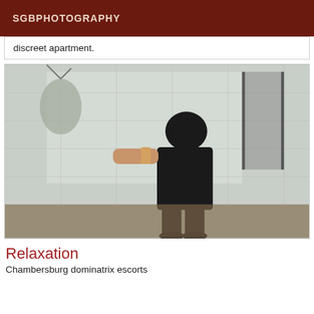SGBPHOTOGRAPHY
discreet apartment.
[Figure (photo): A person dressed in black clothing photographed from behind/side in what appears to be a room interior, with furniture and wall visible in background.]
Relaxation
Chambersburg dominatrix escorts